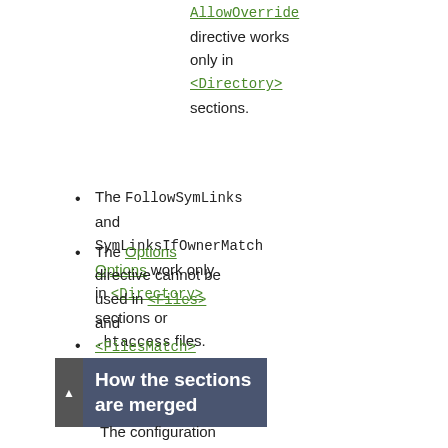AllowOverride directive works only in <Directory> sections.
The FollowSymLinks and SymLinksIfOwnerMatch Options work only in <Directory> sections or .htaccess files.
The Options directive cannot be used in <Files> and <FilesMatch> sections.
How the sections are merged
The configuration sections are applied in a